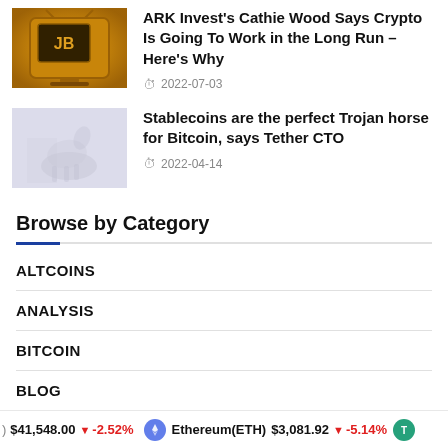[Figure (photo): Thumbnail image of golden retro television set]
ARK Invest's Cathie Wood Says Crypto Is Going To Work in the Long Run – Here's Why
2022-07-03
[Figure (photo): Thumbnail image with faded horse silhouette on light blue-grey background]
Stablecoins are the perfect Trojan horse for Bitcoin, says Tether CTO
2022-04-14
Browse by Category
ALTCOINS
ANALYSIS
BITCOIN
BLOG
$41,548.00 ↓ -2.52%  Ethereum(ETH) $3,081.92 ↓ -5.14%